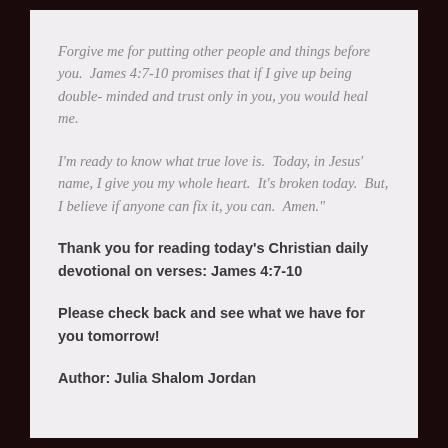Forgive me for putting other people and things before you.  James 4:7-10 promises that if I give up being double- minded and trust only in you, you would heal me.
I'm ready to know what true love is.  Today, in Jesus' name, I give you my whole heart.  It's broken today.  But, I believe if anyone can fix it, you can.  Amen."
Thank you for reading today's Christian daily devotional on verses: James 4:7-10
Please check back and see what we have for you tomorrow!
Author: Julia Shalom Jordan